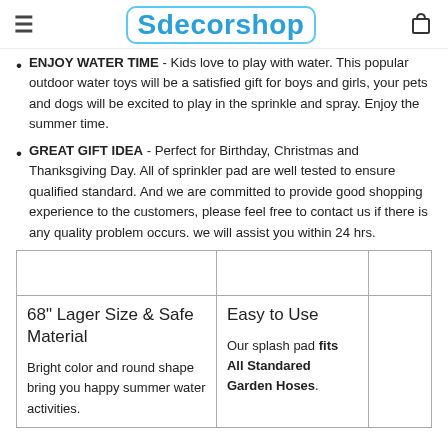Sdecorshop
ENJOY WATER TIME - Kids love to play with water. This popular outdoor water toys will be a satisfied gift for boys and girls, your pets and dogs will be excited to play in the sprinkle and spray. Enjoy the summer time.
GREAT GIFT IDEA - Perfect for Birthday, Christmas and Thanksgiving Day. All of sprinkler pad are well tested to ensure qualified standard. And we are committed to provide good shopping experience to the customers, please feel free to contact us if there is any quality problem occurs. we will assist you within 24 hrs.
|  |  |  |
| --- | --- | --- |
|  |  |  |
| 68" Lager Size & Safe Material

Bright color and round shape bring you happy summer water activities. | Easy to Use

Our splash pad fits All Standared Garden Hoses. |  |